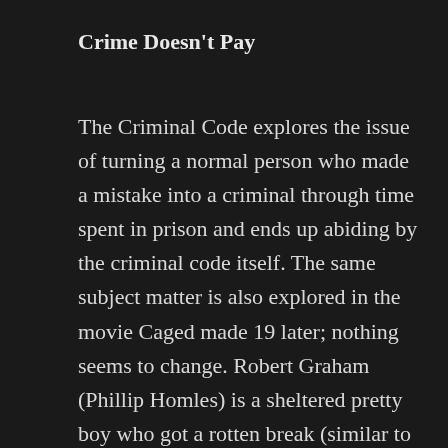Crime Doesn't Pay
The Criminal Code explores the issue of turning a normal person who made a mistake into a criminal through time spent in prison and ends up abiding by the criminal code itself. The same subject matter is also explored in the movie Caged made 19 later; nothing seems to change. Robert Graham (Phillip Homles) is a sheltered pretty boy who got a rotten break (similar to Robert Montgomery in The Big House). However, unlike Montgomery in The Big House, Graham is put in a cell with two guys (including Boris Karloff's Galloway) who look out for him. Although you do have to suspend your disbelief a bit over the movie fast